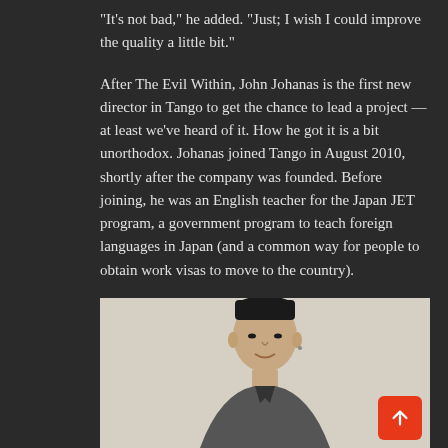“It’s not bad,” he added. “Just; I wish I could improve the quality a little bit.”
After The Evil Within, John Johanas is the first new director in Tango to get the chance to lead a project — at least we’ve heard of it. How he got it is a bit unorthodox. Johanas joined Tango in August 2010, shortly after the company was founded. Before joining, he was an English teacher for the Japan JET program, a government program to teach foreign languages in Japan (and a common way for people to obtain work visas to move to the country).
[Figure (photo): Photo of John Johanas, a man with short dark hair, smiling slightly, photographed against a light beige background. A red scroll-to-top button appears in the bottom right corner of the image.]